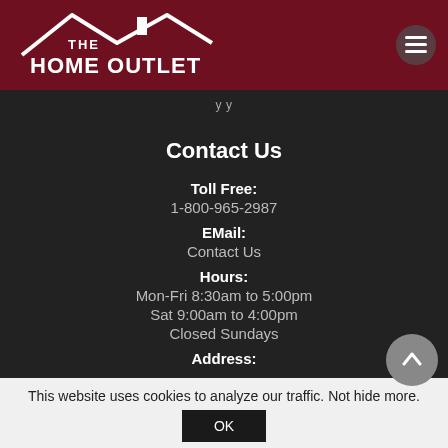[Figure (logo): The Home Outlet logo — white house roof graphic with 'THE HOME OUTLET' text in white on dark red background]
Contact Us
Toll Free: 1-800-965-2987
EMail: Contact Us
Hours: Mon-Fri 8:30am to 5:00pm Sat 9:00am to 4:00pm Closed Sundays
Address:
This website uses cookies to analyze our traffic. Not hide more.
OK